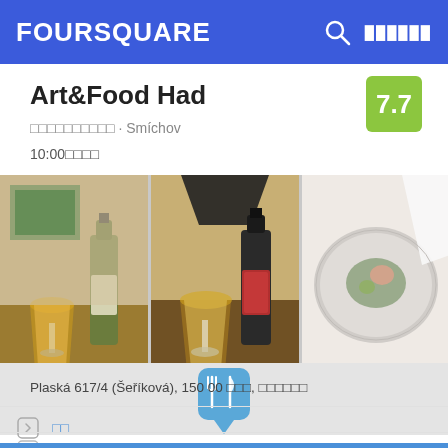FOURSQUARE
Art&Food Had
□□□□□□□□□□ · Smíchov
10:00□□□□
[Figure (photo): Three photos of beer glasses and a food plate in a restaurant setting, plus a partially visible fourth photo]
[Figure (infographic): Foursquare restaurant map pin icon (fork and knife on blue rounded square)]
Plaská 617/4 (Šeříková), 150 00 □□□, □□□□□□
□□
+420 605 555 050